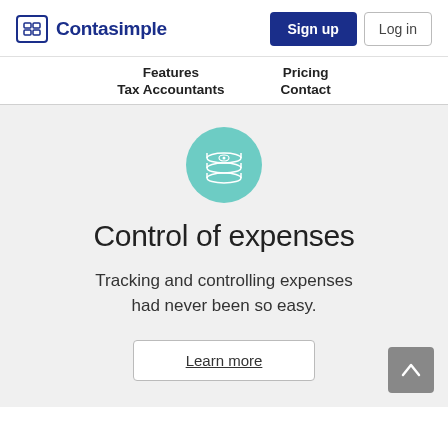[Figure (logo): Contasimple logo with icon and text]
Sign up   Log in
Features   Pricing
Tax Accountants   Contact
[Figure (illustration): Teal circle with white coins/money stack icon]
Control of expenses
Tracking and controlling expenses had never been so easy.
Learn more